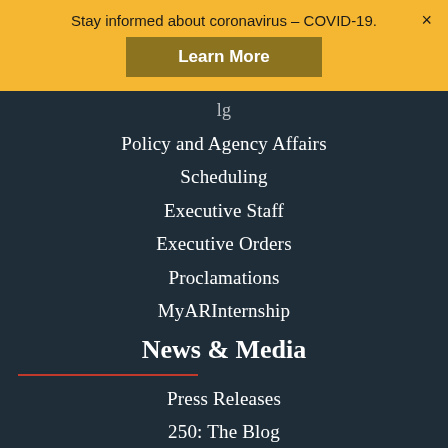Stay informed about coronavirus – COVID-19.
Learn More
Policy and Agency Affairs
Scheduling
Executive Staff
Executive Orders
Proclamations
MyARInternship
News & Media
Press Releases
250: The Blog
Speeches
Weekly Address
Videos
Photos